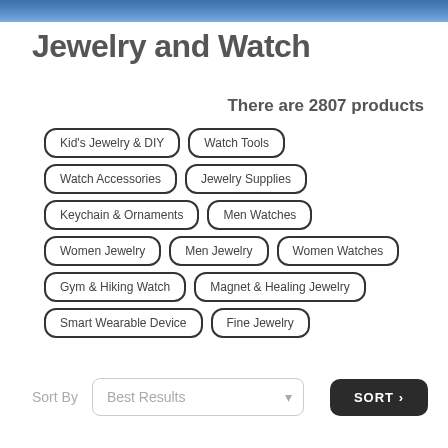Jewelry and Watch
There are 2807 products
Kid's Jewelry & DIY
Watch Tools
Watch Accessories
Jewelry Supplies
Keychain & Ornaments
Men Watches
Women Jewelry
Men Jewelry
Women Watches
Gym & Hiking Watch
Magnet & Healing Jewelry
Smart Wearable Device
Fine Jewelry
Sort By  Best Results  SORT